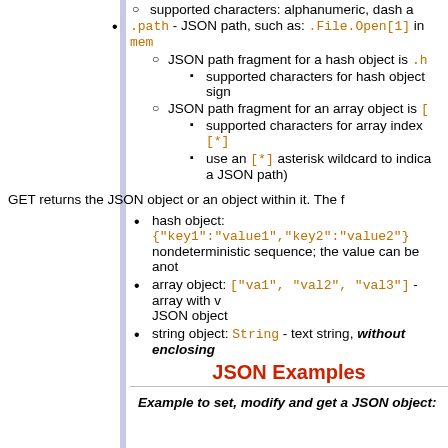supported characters: alphanumeric, dash a
.path - JSON path, such as: .File.Open[1] in mem
JSON path fragment for a hash object is .h
supported characters for hash object... sign
JSON path fragment for an array object is [
supported characters for array index... [*]
use an [*] asterisk wildcard to indica... a JSON path)
GET returns the JSON object or an object within it. The f
hash object: {"key1":"value1","key2":"value2"} nondeterministic sequence; the value can be anot
array object: ["va1", "val2", "val3"] - array with v... JSON object
string object: String - text string, without enclosing
JSON Examples
Example to set, modify and get a JSON object: